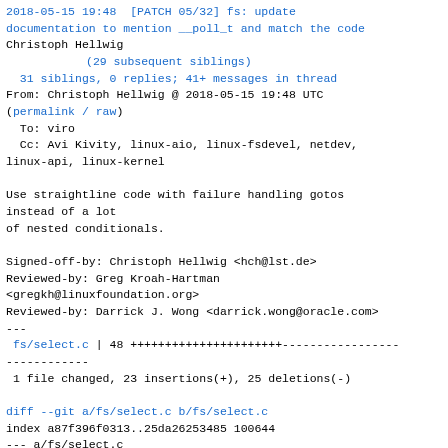2018-05-15 19:48  [PATCH 05/32] fs: update documentation to mention __poll_t and match the code
Christoph Hellwig
    (29 subsequent siblings)
  31 siblings, 0 replies; 41+ messages in thread
From: Christoph Hellwig @ 2018-05-15 19:48 UTC
(permalink / raw)
  To: viro
  Cc: Avi Kivity, linux-aio, linux-fsdevel, netdev, linux-api, linux-kernel

Use straightline code with failure handling gotos instead of a lot
of nested conditionals.

Signed-off-by: Christoph Hellwig <hch@lst.de>
Reviewed-by: Greg Kroah-Hartman
<gregkh@linuxfoundation.org>
Reviewed-by: Darrick J. Wong <darrick.wong@oracle.com>
---
 fs/select.c | 48 ++++++++++++++++++++++-----------------
 1 file changed, 23 insertions(+), 25 deletions(-)

diff --git a/fs/select.c b/fs/select.c
index a87f396f0313..25da26253485 100644
--- a/fs/select.c
+++ b/fs/select.c
@@ -812,34 +812,32 @@ static inline __poll_t
do_pollfd(struct pollfd *pollfd, poll_table *pwait,
                                                        bool